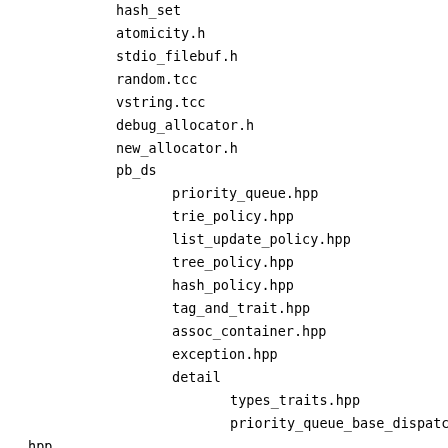hash_set
atomicity.h
stdio_filebuf.h
random.tcc
vstring.tcc
debug_allocator.h
new_allocator.h
pb_ds
priority_queue.hpp
trie_policy.hpp
list_update_policy.hpp
tree_policy.hpp
hash_policy.hpp
tag_and_trait.hpp
assoc_container.hpp
exception.hpp
detail
types_traits.hpp
priority_queue_base_dispatch.hpp
type_utils.hpp
container_base_dispatch.hpp
cond_dealtor.hpp